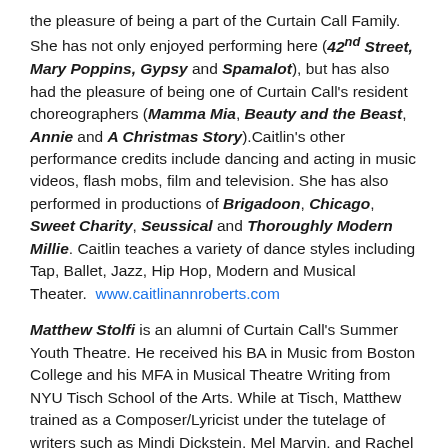the pleasure of being a part of the Curtain Call Family. She has not only enjoyed performing here (42nd Street, Mary Poppins, Gypsy and Spamalot), but has also had the pleasure of being one of Curtain Call's resident choreographers (Mamma Mia, Beauty and the Beast, Annie and A Christmas Story).Caitlin's other performance credits include dancing and acting in music videos, flash mobs, film and television. She has also performed in productions of Brigadoon, Chicago, Sweet Charity, Seussical and Thoroughly Modern Millie. Caitlin teaches a variety of dance styles including Tap, Ballet, Jazz, Hip Hop, Modern and Musical Theater.  www.caitlinannroberts.com
Matthew Stolfi is an alumni of Curtain Call's Summer Youth Theatre. He received his BA in Music from Boston College and his MFA in Musical Theatre Writing from NYU Tisch School of the Arts. While at Tisch, Matthew trained as a Composer/Lyricist under the tutelage of writers such as Mindi Dickstein, Mel Marvin, and Rachel Sheinkin. His performance resume includes acting and singing in many productions at the Curtain Call...